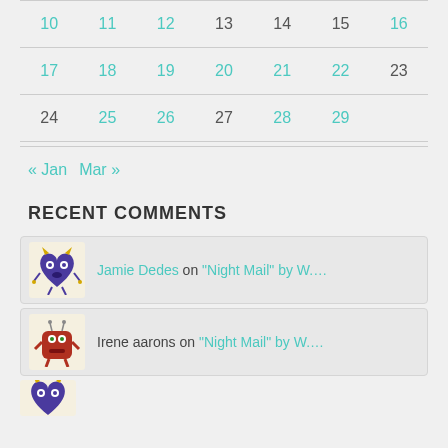| 10 | 11 | 12 | 13 | 14 | 15 | 16 |
| 17 | 18 | 19 | 20 | 21 | 22 | 23 |
| 24 | 25 | 26 | 27 | 28 | 29 |  |
« Jan   Mar »
RECENT COMMENTS
Jamie Dedes on "Night Mail" by W....
Irene aarons on "Night Mail" by W....
[Figure (illustration): Partial avatar (monster illustration) at bottom]